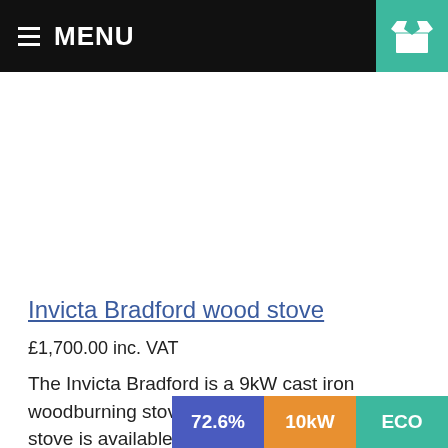MENU
Invicta Bradford wood stove
£1,700.00 inc. VAT
The Invicta Bradford is a 9kW cast iron woodburning stove with airwash. The Bradford stove is available in anthracite, ivory enamel, or red enamel.
72.6% 10kW ECO